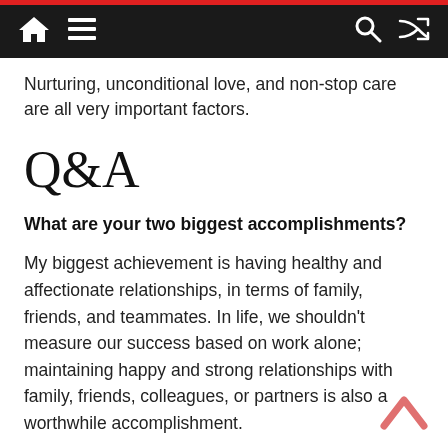Navigation bar with home, menu, search, and shuffle icons
Nurturing, unconditional love, and non-stop care are all very important factors.
Q&A
What are your two biggest accomplishments?
My biggest achievement is having healthy and affectionate relationships, in terms of family, friends, and teammates. In life, we shouldn't measure our success based on work alone; maintaining happy and strong relationships with family, friends, colleagues, or partners is also a worthwhile accomplishment.